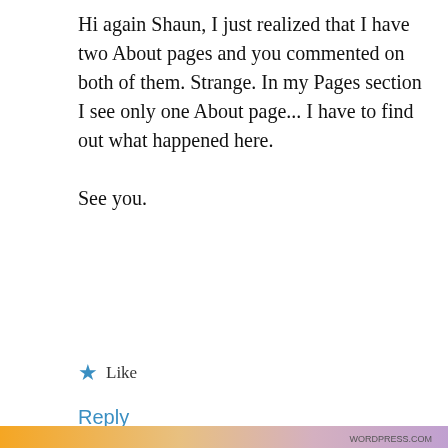Hi again Shaun, I just realized that I have two About pages and you commented on both of them. Strange. In my Pages section I see only one About page... I have to find out what happened here.
See you.
★ Like
Reply
Privacy & Cookies: This site uses cookies. By continuing to use this website, you agree to their use.
To find out more, including how to control cookies, see here: Cookie Policy
Close and accept